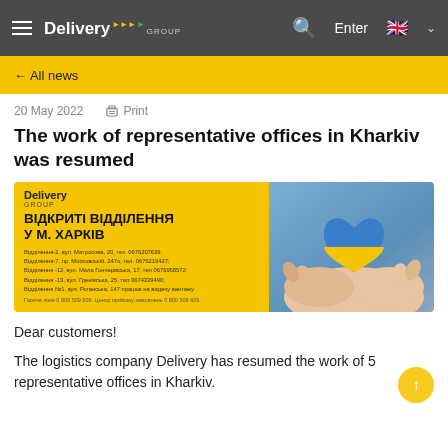Delivery GROUP — navigation header with hamburger menu, search, Enter, UK flag
← All news
20 May 2022    🖨 Print
The work of representative offices in Kharkiv was resumed
[Figure (photo): Delivery GROUP promotional banner in Ukrainian showing 'ВІДКРИТІ ВІДДІЛЕННЯ У М. ХАРКІВ' with address details, on yellow background with a right-side photo of hands holding a blue-and-yellow heart.]
Dear customers!
The logistics company Delivery has resumed the work of 5 representative offices in Kharkiv.